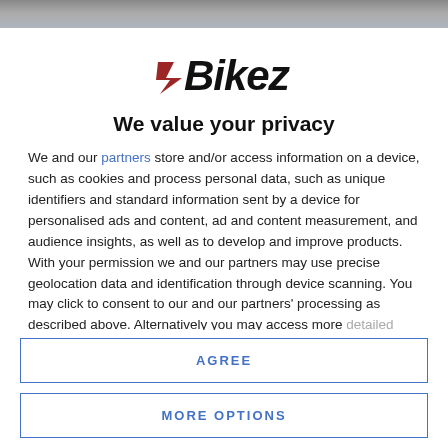[Figure (logo): Bikez logo with stylized speed lines before the text]
We value your privacy
We and our partners store and/or access information on a device, such as cookies and process personal data, such as unique identifiers and standard information sent by a device for personalised ads and content, ad and content measurement, and audience insights, as well as to develop and improve products. With your permission we and our partners may use precise geolocation data and identification through device scanning. You may click to consent to our and our partners' processing as described above. Alternatively you may access more detailed information and change your preferences before consenting or to refuse consenting. Please note that some processing of your
AGREE
MORE OPTIONS